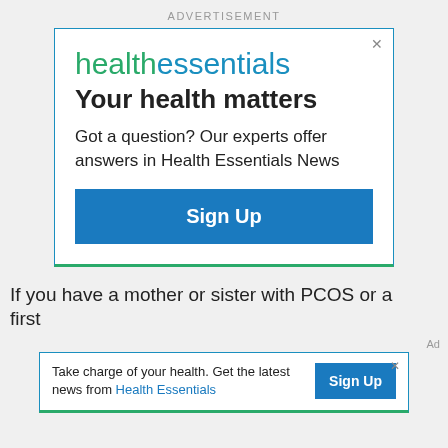ADVERTISEMENT
[Figure (other): Health Essentials newsletter advertisement with logo, tagline 'Your health matters', description text, and Sign Up button]
If you have a mother or sister with PCOS or a first
Ad
[Figure (other): Small banner ad: Take charge of your health. Get the latest news from Health Essentials. Sign Up button.]